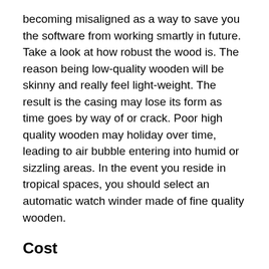becoming misaligned as a way to save you the software from working smartly in future. Take a look at how robust the wood is. The reason being low-quality wooden will be skinny and really feel light-weight. The result is the casing may lose its form as time goes by way of or crack. Poor high quality wooden may holiday over time, leading to air bubble entering into humid or sizzling areas. In the event you reside in tropical spaces, you should select an automatic watch winder made of fine quality wooden.
Cost
You may assume that pricing isn't a factor while buying automated winders. What you will have to take note is that many dealers put it on the market negative quality watch winders as great devices. In truth they're best abnormal packing containers with